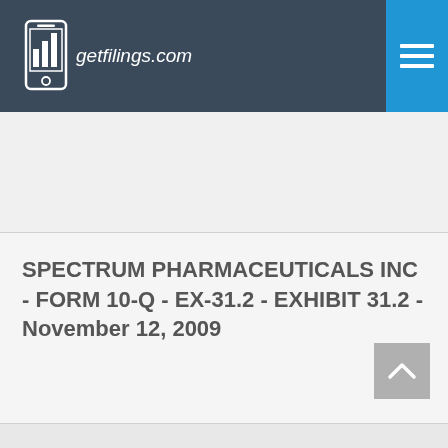[Figure (logo): getfilings.com logo with phone/bar chart icon and site name in italic white text on dark navy background]
SPECTRUM PHARMACEUTICALS INC - FORM 10-Q - EX-31.2 - EXHIBIT 31.2 - November 12, 2009